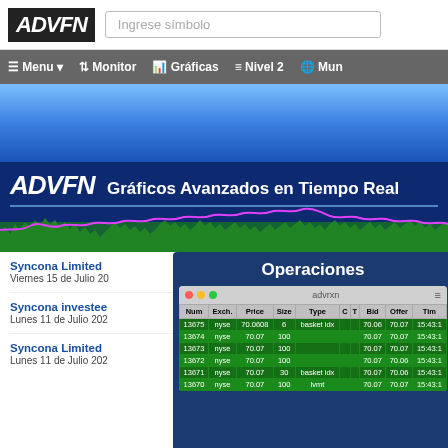[Figure (screenshot): ADVFN website header with logo and 'Ingrese símbolo' search box]
Menu  Monitor  Gráficas  Nivel 2  Mun
[Figure (screenshot): Blue gradient banner advertisement area]
[Figure (screenshot): ADVFN promotional banner: 'ADVFN Gráficos Avanzados en Tiempo Real' with wavy stock chart graphic]
Syncona Limited
Viernes 15 de Julio 20
Syncona investee
Lunes 11 de Julio 202
Syncona Limited
Lunes 11 de Julio 202
Operaciones
| Num | Exch. | Price | Size | Type | C | T | Bid | Offer | Tim |
| --- | --- | --- | --- | --- | --- | --- | --- | --- | --- |
| 13675 | nyse | 70.0608 | 6 | basket idx |  |  | 70.06 | 70.07 | 15:43:1 |
| 13674 | nyse | 70.07 | 100 |  |  |  | 70.07 | 70.07 | 15:43:1 |
| 13673 | nyse | 70.07 | 100 |  |  |  | 70.07 | 70.07 | 15:43:1 |
| 13672 | nyse | 70.07 | 100 |  |  |  | 70.07 | 70.06 | 15:43:1 |
| 13671 | nyse | 70.07 | 30 | basket idx |  |  | 70.07 | 70.06 | 15:43:1 |
| 13670 | nyse | 70.07 | 100 | lvmt |  |  | 70.07 | 70.07 | 15:43:1 |